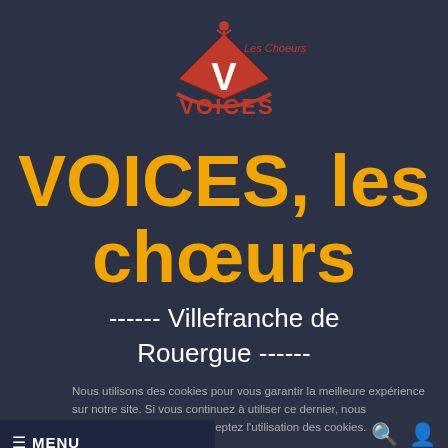[Figure (logo): Les Choeurs VOICES logo with red diamond V shape and figure on top, red arc at bottom]
VOICES, les chœurs
------ Villefranche de Rouergue ------
Nous utilisons des cookies pour vous garantir la meilleure expérience sur notre site. Si vous continuez à utiliser ce dernier, nous considérerons que vous acceptez l'utilisation des cookies.
≡ MENU
OK
Pour en savoir plus, cliquez ici.
The Way Mobile Casinos Work